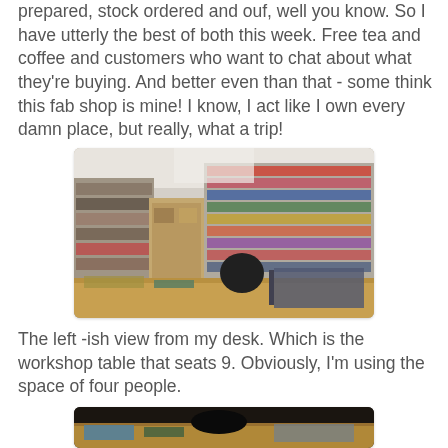prepared, stock ordered and ouf, well you know. So I have utterly the best of both this week. Free tea and coffee and customers who want to chat about what they're buying. And better even than that - some think this fab shop is mine! I know, I act like I own every damn place, but really, what a trip!
[Figure (photo): Interior of a craft/hobby shop showing shelves stocked with merchandise, a wooden counter/desk in the foreground, and product displays.]
The left -ish view from my desk. Which is the workshop table that seats 9. Obviously, I'm using the space of four people.
[Figure (photo): Partial view of a workshop table in a craft shop, showing the desk surface with materials, dark background.]